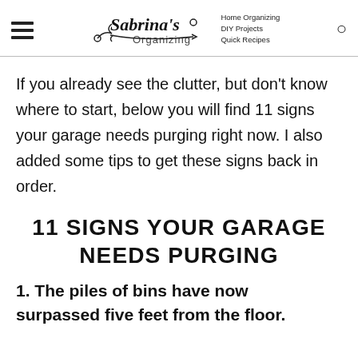Sabrina's Organizing | Home Organizing | DIY Projects | Quick Recipes
If you already see the clutter, but don't know where to start, below you will find 11 signs your garage needs purging right now. I also added some tips to get these signs back in order.
11 SIGNS YOUR GARAGE NEEDS PURGING
1. The piles of bins have now surpassed five feet from the floor.